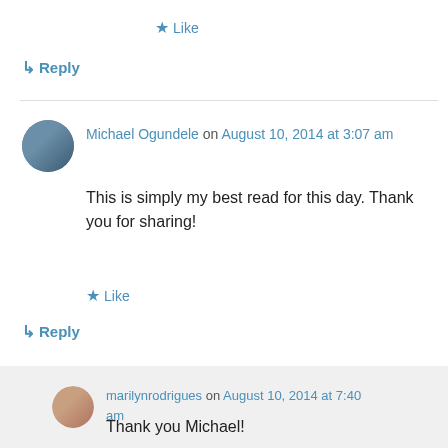★ Like
↳ Reply
Michael Ogundele on August 10, 2014 at 3:07 am
This is simply my best read for this day. Thank you for sharing!
★ Like
↳ Reply
marilynrodrigues on August 10, 2014 at 7:40 am
Thank you Michael!